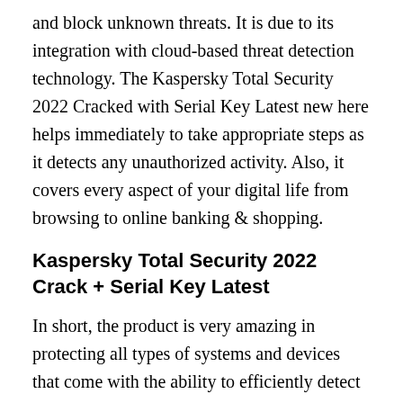and block unknown threats. It is due to its integration with cloud-based threat detection technology. The Kaspersky Total Security 2022 Cracked with Serial Key Latest new here helps immediately to take appropriate steps as it detects any unauthorized activity. Also, it covers every aspect of your digital life from browsing to online banking & shopping.
Kaspersky Total Security 2022 Crack + Serial Key Latest
In short, the product is very amazing in protecting all types of systems and devices that come with the ability to efficiently detect and block unknown threats. It is due to its